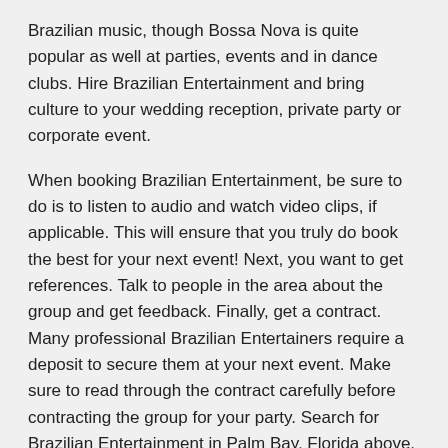Brazilian music, though Bossa Nova is quite popular as well at parties, events and in dance clubs. Hire Brazilian Entertainment and bring culture to your wedding reception, private party or corporate event.
When booking Brazilian Entertainment, be sure to do is to listen to audio and watch video clips, if applicable. This will ensure that you truly do book the best for your next event! Next, you want to get references. Talk to people in the area about the group and get feedback. Finally, get a contract. Many professional Brazilian Entertainers require a deposit to secure them at your next event. Make sure to read through the contract carefully before contracting the group for your party. Search for Brazilian Entertainment in Palm Bay, Florida above.
Please note that these Brazilian Entertainment may also travel to Malabar, Melbourne Beach, Indialantic, West Melbourne, Grant, Grant-Valkaria, Indian Harbour Beach, Satellite Beach, Barefoot Bay, Palm Shores, Micco, Patrick Afb, Roseland, Southwest Brevard